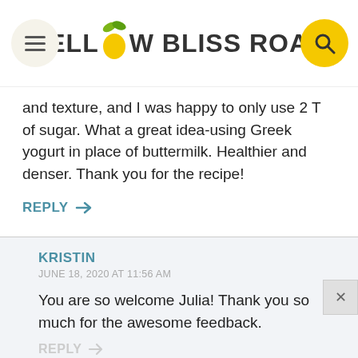YELLOW BLISS ROAD
and texture, and I was happy to only use 2 T of sugar. What a great idea-using Greek yogurt in place of buttermilk. Healthier and denser. Thank you for the recipe!
REPLY →
KRISTIN
JUNE 18, 2020 AT 11:56 AM
You are so welcome Julia! Thank you so much for the awesome feedback.
REPLY →